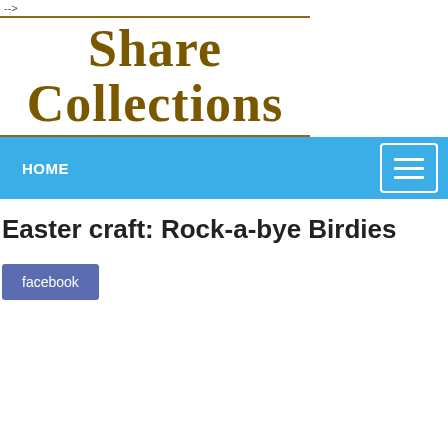-->
[Figure (logo): Share Collections logo with gold/brown serif bold text on white background with gold horizontal rules]
HOME
Easter craft: Rock-a-bye Birdies
facebook